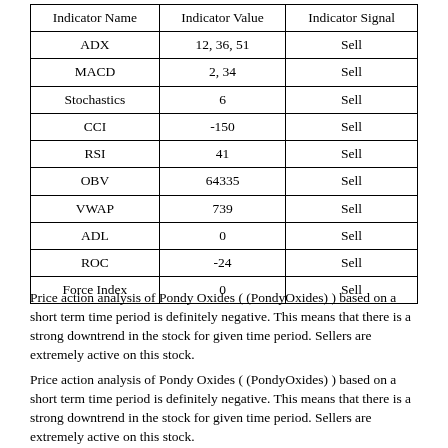| Indicator Name | Indicator Value | Indicator Signal |
| --- | --- | --- |
| ADX | 12, 36, 51 | Sell |
| MACD | 2, 34 | Sell |
| Stochastics | 6 | Sell |
| CCI | -150 | Sell |
| RSI | 41 | Sell |
| OBV | 64335 | Sell |
| VWAP | 739 | Sell |
| ADL | 0 | Sell |
| ROC | -24 | Sell |
| Force Index | 0 | Sell |
Price action analysis of Pondy Oxides ( (PondyOxides) ) based on a short term time period is definitely negative. This means that there is a strong downtrend in the stock for given time period. Sellers are extremely active on this stock.
Price action analysis of Pondy Oxides ( (PondyOxides) ) based on a short term time period is definitely negative. This means that there is a strong downtrend in the stock for given time period. Sellers are extremely active on this stock.